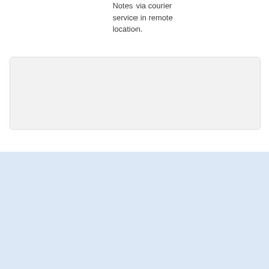Notes via courier service in remote location.
[Figure (other): Gray rounded rectangle placeholder box]
HOME   Privacy policy   Area Codes   Contact
Copyright © 2017 whose-number-is-this.com: Who called me? - Reverse Phone Lookup
Powered by Conex strony internetowe